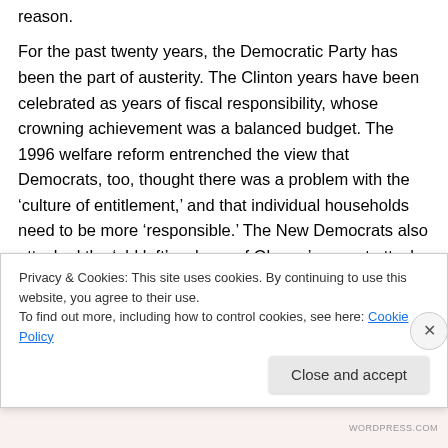reason.

For the past twenty years, the Democratic Party has been the part of austerity. The Clinton years have been celebrated as years of fiscal responsibility, whose crowning achievement was a balanced budget. The 1996 welfare reform entrenched the view that Democrats, too, thought there was a problem with the ‘culture of entitlement,’ and that individual households need to be more ‘responsible.’ The New Democrats also attacked the ‘old left’, echoes of Obama’s recent attack on the
Privacy & Cookies: This site uses cookies. By continuing to use this website, you agree to their use.
To find out more, including how to control cookies, see here: Cookie Policy
WORDPRESS.COM